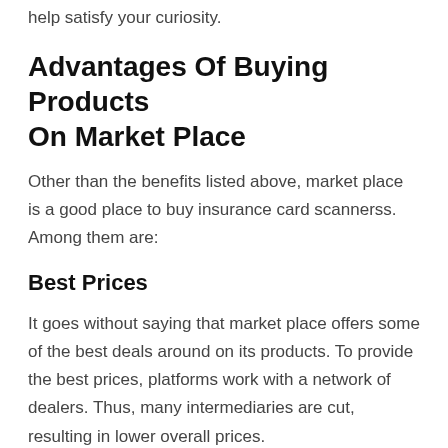help satisfy your curiosity.
Advantages Of Buying Products On Market Place
Other than the benefits listed above, market place is a good place to buy insurance card scannerss. Among them are:
Best Prices
It goes without saying that market place offers some of the best deals around on its products. To provide the best prices, platforms work with a network of dealers. Thus, many intermediaries are cut, resulting in lower overall prices.